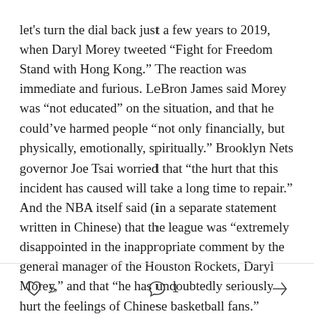let's turn the dial back just a few years to 2019, when Daryl Morey tweeted “Fight for Freedom Stand with Hong Kong.” The reaction was immediate and furious. LeBron James said Morey was “not educated” on the situation, and that he could’ve harmed people “not only financially, but physically, emotionally, spiritually.” Brooklyn Nets governor Joe Tsai worried that “the hurt that this incident has caused will take a long time to repair.” And the NBA itself said (in a separate statement written in Chinese) that the league was “extremely disappointed in the inappropriate comment by the general manager of the Houston Rockets, Daryl Morey,” and that “he has undoubtedly seriously hurt the feelings of Chinese basketball fans.”
5 likes  1 comment  share